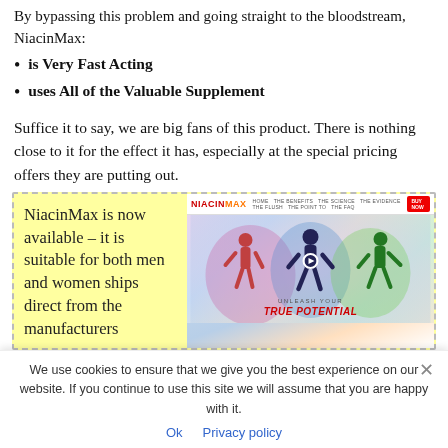By bypassing this problem and going straight to the bloodstream, NiacinMax:
is Very Fast Acting
uses All of the Valuable Supplement
Suffice it to say, we are big fans of this product. There is nothing close to it for the effect it has, especially at the special pricing offers they are putting out.
[Figure (screenshot): Yellow highlighted box with text 'NiacinMax is now available – it is suitable for both men and women ships direct from the manufacturers' on the left, and a screenshot of the NiacinMax website on the right showing athlete figures and the tagline 'UNLEASH YOUR TRUE POTENTIAL']
We use cookies to ensure that we give you the best experience on our website. If you continue to use this site we will assume that you are happy with it.
Ok   Privacy policy